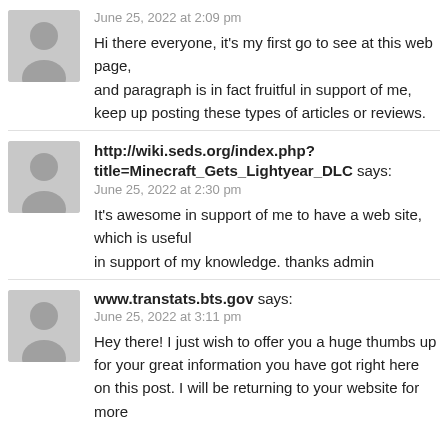[Figure (illustration): Gray avatar placeholder icon for first commenter]
June 25, 2022 at 2:09 pm
Hi there everyone, it's my first go to see at this web page, and paragraph is in fact fruitful in support of me, keep up posting these types of articles or reviews.
[Figure (illustration): Gray avatar placeholder icon for second commenter]
http://wiki.seds.org/index.php?title=Minecraft_Gets_Lightyear_DLC says:
June 25, 2022 at 2:30 pm
It's awesome in support of me to have a web site, which is useful in support of my knowledge. thanks admin
[Figure (illustration): Gray avatar placeholder icon for third commenter]
www.transtats.bts.gov says:
June 25, 2022 at 3:11 pm
Hey there! I just wish to offer you a huge thumbs up for your great information you have got right here on this post. I will be returning to your website for more